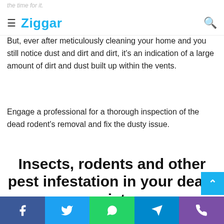the time for it.
[Figure (other): Ziggar website navigation bar with hamburger menu icon, Ziggar logo in blue, and search icon]
But, even after meticulously cleaning your home and you still notice dust and dirt and dirt, it's an indication of a large amount of dirt and dust built up within the vents.
Engage a professional for a thorough inspection of the dead rodent's removal and fix the dusty issue.
Insects, rodents and other pest infestation in your dead register
[Figure (other): Social sharing bar at bottom with Facebook, Twitter, WhatsApp, Telegram, and Phone icons]